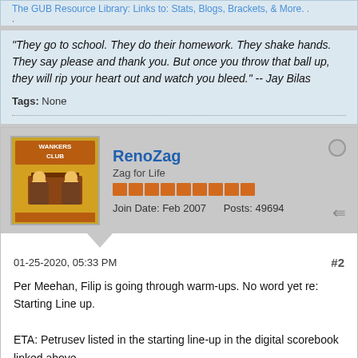The GUB Resource Library: Links to: Stats, Blogs, Brackets, & More. .
“They go to school. They do their homework. They shake hands. They say please and thank you. But once you throw that ball up, they will rip your heart out and watch you bleed.” -- Jay Bilas
Tags: None
RenoZag
Zag for Life
Join Date: Feb 2007    Posts: 49694
01-25-2020, 05:33 PM
#2
Per Meehan, Filip is going through warm-ups. No word yet re: Starting Line up.

ETA: Petrusev listed in the starting line-up in the digital scorebook linked above
The GUB Resource Library: Links to: Stats, Blogs, Brackets, & More. .